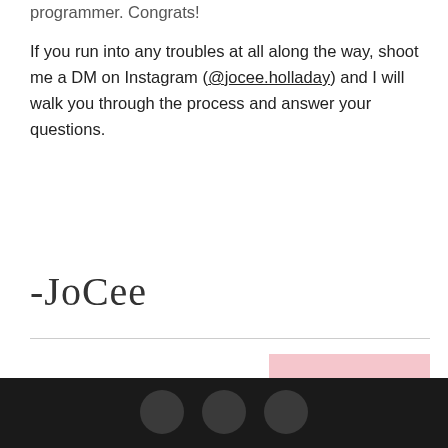programmer. Congrats!
If you run into any troubles at all along the way, shoot me a DM on Instagram (@jocee.holladay) and I will walk you through the process and answer your questions.
-JoCee
NEXT →